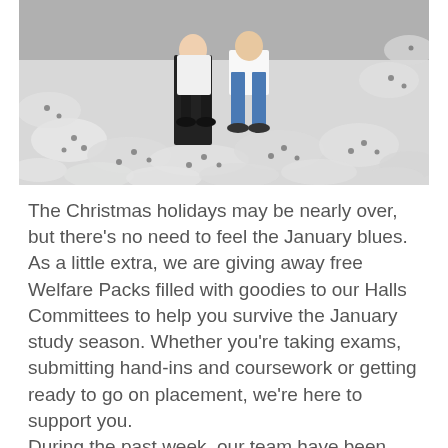[Figure (photo): Two people standing on top of a large pile of white bags/packs with dark polka dot patterns, filling the entire frame around them.]
The Christmas holidays may be nearly over, but there's no need to feel the January blues. As a little extra, we are giving away free Welfare Packs filled with goodies to our Halls Committees to help you survive the January study season. Whether you're taking exams, submitting hand-ins and coursework or getting ready to go on placement, we're here to support you.
During the past week, our team have been joining Flora (Vice-President Student Communities) and Dan (Vice-President Engagement) to pack thousands of bags with